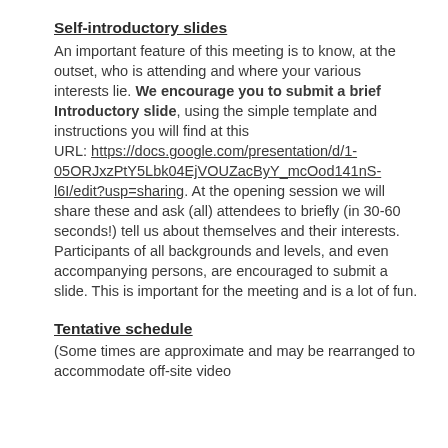Self-introductory slides
An important feature of this meeting is to know, at the outset, who is attending and where your various interests lie. We encourage you to submit a brief Introductory slide, using the simple template and instructions you will find at this URL: https://docs.google.com/presentation/d/1-05ORJxzPtY5Lbk04EjVOUZacByY_mcOod141nS-l6I/edit?usp=sharing. At the opening session we will share these and ask (all) attendees to briefly (in 30-60 seconds!) tell us about themselves and their interests. Participants of all backgrounds and levels, and even accompanying persons, are encouraged to submit a slide. This is important for the meeting and is a lot of fun.
Tentative schedule
(Some times are approximate and may be rearranged to accommodate off-site video